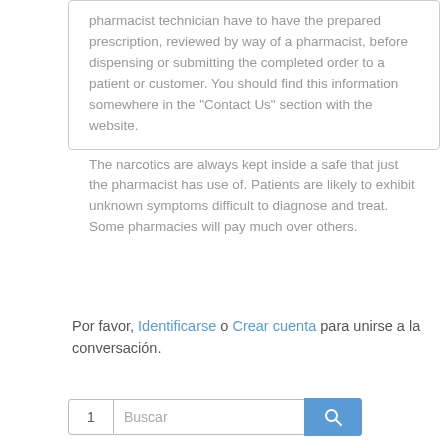pharmacist technician have to have the prepared prescription, reviewed by way of a pharmacist, before dispensing or submitting the completed order to a patient or customer. You should find this information somewhere in the "Contact Us" section with the website.

The narcotics are always kept inside a safe that just the pharmacist has use of. Patients are likely to exhibit unknown symptoms difficult to diagnose and treat. Some pharmacies will pay much over others.
Por favor, Identificarse o Crear cuenta para unirse a la conversación.